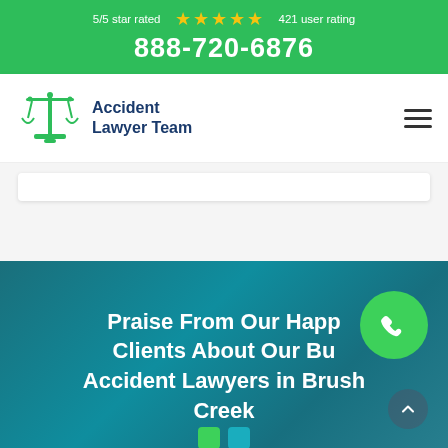5/5 star rated ★★★★★ 421 user rating
888-720-6876
[Figure (logo): Accident Lawyer Team logo with scales of justice icon in green and blue text]
Praise From Our Happy Clients About Our Bus Accident Lawyers in Brush Creek